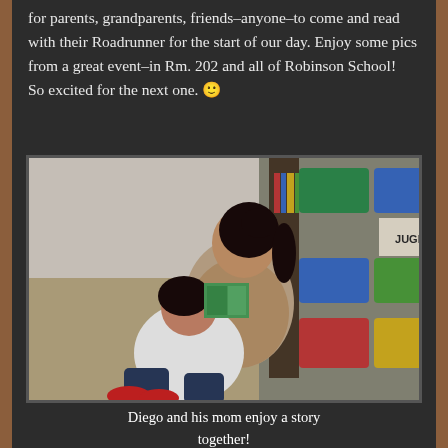for parents, grandparents, friends–anyone–to come and read with their Roadrunner for the start of our day. Enjoy some pics from a great event–in Rm. 202 and all of Robinson School!  So excited for the next one. 🙂
[Figure (photo): A woman (mom) and a young boy sit on the floor in a classroom, reading a book together near colorful bookshelves with bins.]
Diego and his mom enjoy a story together!